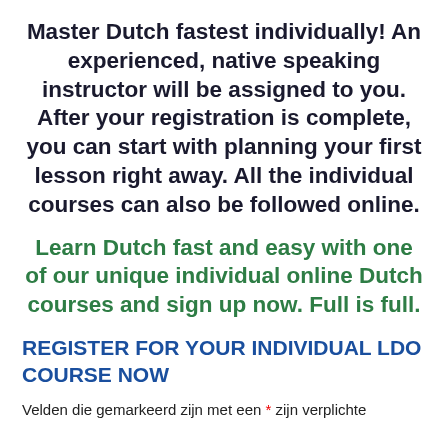Master Dutch fastest individually! An experienced, native speaking instructor will be assigned to you. After your registration is complete, you can start with planning your first lesson right away. All the individual courses can also be followed online.
Learn Dutch fast and easy with one of our unique individual online Dutch courses and sign up now. Full is full.
REGISTER FOR YOUR INDIVIDUAL LDO COURSE NOW
Velden die gemarkeerd zijn met een * zijn verplichte